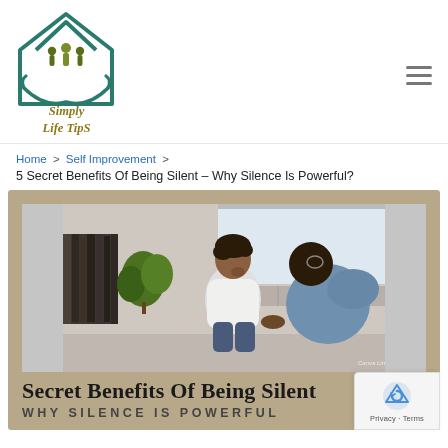[Figure (logo): Simply Life Tips logo: house outline with family figures inside, hands underneath, teal/dark green color with gold-olive text reading 'Simply Life Tips']
Home > Self Improvement > 5 Secret Benefits Of Being Silent – Why Silence Is Powerful?
[Figure (photo): Featured article image: two people sitting across from each other in conversation. A woman in white top with hand on chin listening, a man in blue top facing away. Text overlay reads 'Secret Benefits Of Being Silent' and 'WHY SILENCE IS POWERFUL'. Background tan/khaki border.]